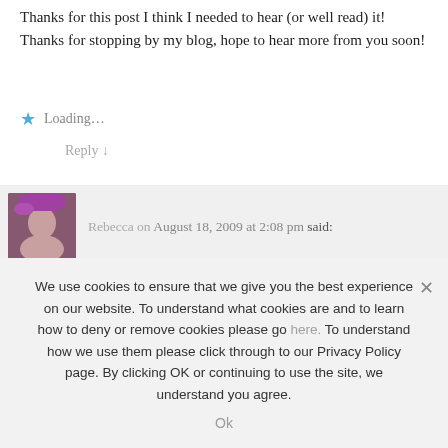Thanks for this post I think I needed to hear (or well read) it! Thanks for stopping by my blog, hope to hear more from you soon!
Loading...
Reply ↓
Rebecca on August 18, 2009 at 2:08 pm said:
I totally agree... we all have a purpose & a reason for our life... but yes, we still represent CHRIST & Christians in general... we need to hold tight to that always...
& its so hard for young ones & high school & college kids to REALLY hang onto that... the different challenges we all face during each stage of life.
We use cookies to ensure that we give you the best experience on our website. To understand what cookies are and to learn how to deny or remove cookies please go here. To understand how we use them please click through to our Privacy Policy page. By clicking OK or continuing to use the site, we understand you agree.
Ok